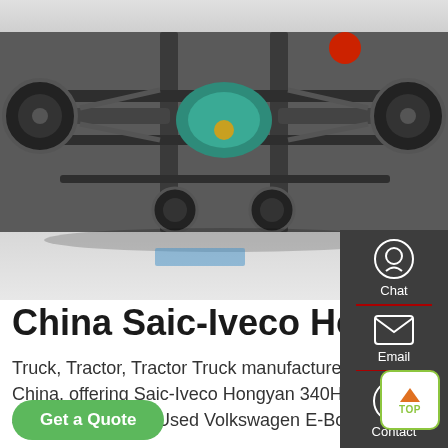[Figure (photo): Underside/chassis view of a truck or heavy vehicle, showing axles, suspension, drivetrain components including a teal/green colored differential or gearbox, shot from below against a light background.]
China Saic-Iveco Hongyan....
Truck, Tractor, Tractor Truck manufacturer / supplier in China, offering Saic-Iveco Hongyan 340HP 4X2 Flat Roof 45t Tractor Truck, Used Volkswagen E-Bora Electric Ca...
[Figure (infographic): Sidebar with Chat, Email, and Contact icons on dark grey background, plus a TOP scroll-to-top button in green border]
Get a Quote